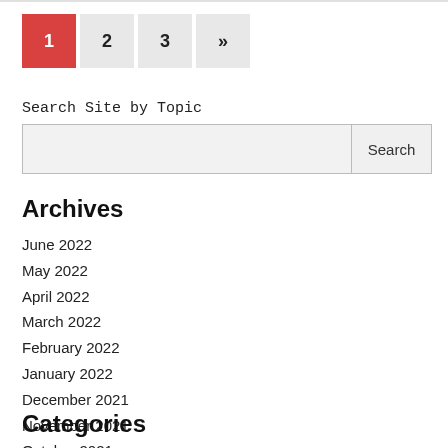1 2 3 »
Search Site by Topic
Archives
June 2022
May 2022
April 2022
March 2022
February 2022
January 2022
December 2021
November 2021
October 2021
Categories